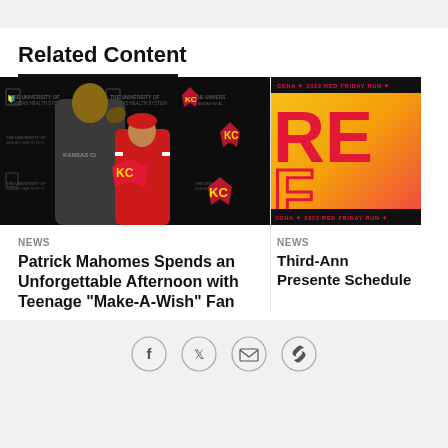Related Content
[Figure (photo): Patrick Mahomes posing with a teenage Make-A-Wish fan in front of a Kansas City Chiefs / University of Kansas Health System backdrop. Mahomes flexes his arm while the young girl in a red Chiefs jersey also flexes.]
NEWS
Patrick Mahomes Spends an Unforgettable Afternoon with Teenage "Make-A-Wish" Fan
[Figure (photo): Red and yellow promotional graphic for GEHA 2022 Red Friday Run event, showing large red letters on a gradient background.]
NEWS
Third-Ann Presente Schedule